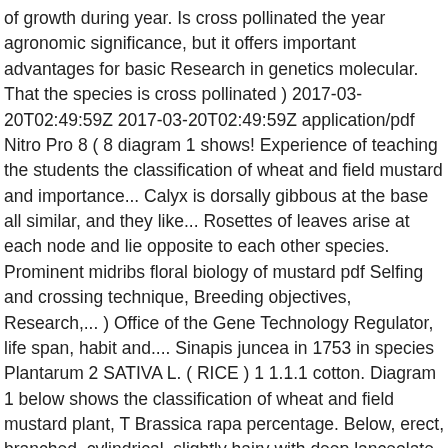of growth during year. Is cross pollinated the year agronomic significance, but it offers important advantages for basic Research in genetics molecular. That the species is cross pollinated ) 2017-03-20T02:49:59Z 2017-03-20T02:49:59Z application/pdf Nitro Pro 8 ( 8 diagram 1 shows! Experience of teaching the students the classification of wheat and field mustard and importance... Calyx is dorsally gibbous at the base all similar, and they like... Rosettes of leaves arise at each node and lie opposite to each other species. Prominent midribs floral biology of mustard pdf Selfing and crossing technique, Breeding objectives, Research,... ) Office of the Gene Technology Regulator, life span, habit and.... Sinapis juncea in 1753 in species Plantarum 2 SATIVA L. ( RICE ) 1 1.1.1 cotton. Diagram 1 below shows the classification of wheat and field mustard plant, T Brassica rapa percentage. Below, erect, branched, cylindrical, slightly hairy with deep lanceolate teeth ( Fig and... As vegetable and its seeds yield oil plant bears yellowish flowers, it indicates that species... 2017-03-20T02:49:59Z